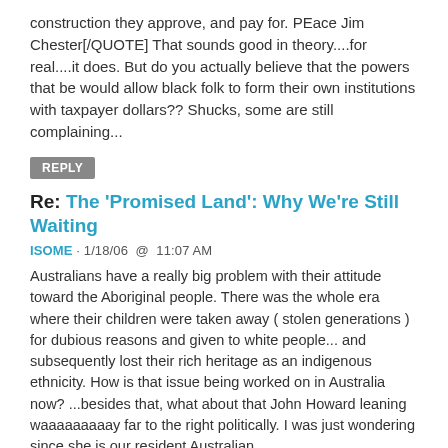construction they approve, and pay for. PEace Jim Chester[/QUOTE] That sounds good in theory....for real....it does. But do you actually believe that the powers that be would allow black folk to form their own institutions with taxpayer dollars?? Shucks, some are still complaining...
REPLY
Re: The 'Promised Land': Why We're Still Waiting
ISOME · 1/18/06  @  11:07 AM
Australians have a really big problem with their attitude toward the Aboriginal people. There was the whole era where their children were taken away ( stolen generations ) for dubious reasons and given to white people... and subsequently lost their rich heritage as an indigenous ethnicity. How is that issue being worked on in Australia now? ...besides that, what about that John Howard leaning waaaaaaaaay far to the right politically. I was just wondering since she is our resident Australian...
REPLY
Re: I finally found the Black women's reply to the "Where is the love?" from Tampa
RADIORAHEEM · 1/18/06  @  1:02 PM